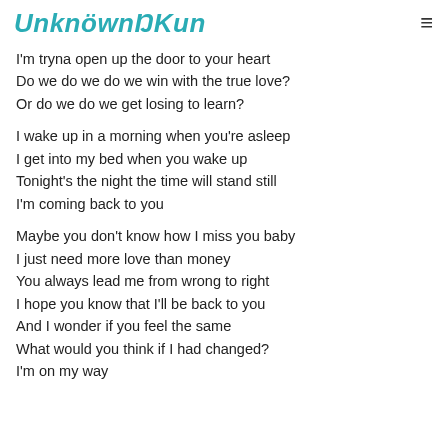UnknöwnŌKun
I'm tryna open up the door to your heart
Do we do we do we win with the true love?
Or do we do we get losing to learn?
I wake up in a morning when you're asleep
I get into my bed when you wake up
Tonight's the night the time will stand still
I'm coming back to you
Maybe you don't know how I miss you baby
I just need more love than money
You always lead me from wrong to right
I hope you know that I'll be back to you
And I wonder if you feel the same
What would you think if I had changed?
I'm on my way